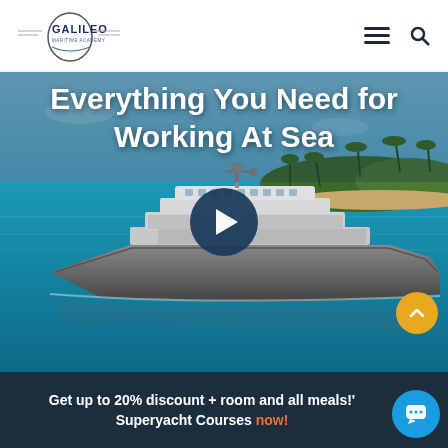[Figure (logo): Galileo Maritime Academy logo with circular nautical design]
Everything You Need for Working At Sea
[Figure (photo): Superyacht on turquoise Caribbean waters with tropical island in background, video play button overlay]
Get up to 20% discount + room and all meals!' Superyacht Courses now!